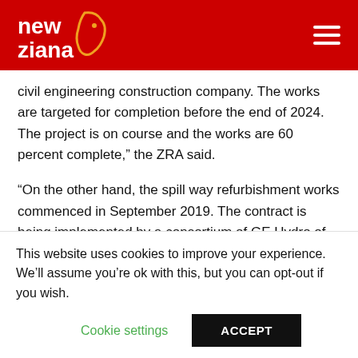new ziana
civil engineering construction company. The works are targeted for completion before the end of 2024. The project is on course and the works are 60 percent complete,” the ZRA said.
“On the other hand, the spill way refurbishment works commenced in September 2019. The contract is being implemented by a consortium of GE Hydro of France and Freyssinet International of France. The works are targeted to be completed by 2024.”
The ZRA said while the project was minimally affected
This website uses cookies to improve your experience. We’ll assume you’re ok with this, but you can opt-out if you wish.